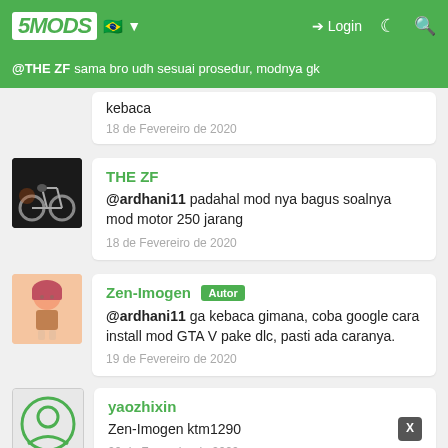5MODS | Login
@THE ZF sama bro udh sesuai prosedur, modnya gk kebaca
18 de Fevereiro de 2020
THE ZF
@ardhani11 padahal mod nya bagus soalnya mod motor 250 jarang
18 de Fevereiro de 2020
Zen-Imogen [Autor]
@ardhani11 ga kebaca gimana, coba google cara install mod GTA V pake dlc, pasti ada caranya.
19 de Fevereiro de 2020
yaozhixin
Zen-Imogen ktm1290
20 de Fevereiro de 2020